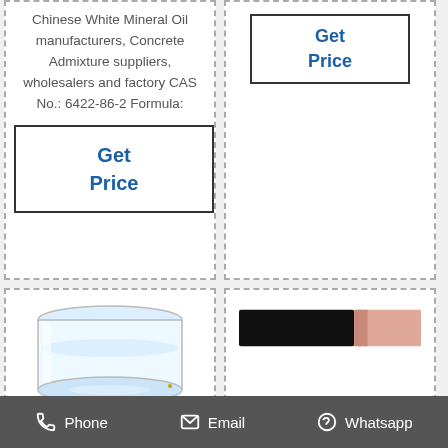Chinese White Mineral Oil manufacturers, Concrete Admixture suppliers, wholesalers and factory CAS No.: 6422-86-2 Formula:
[Figure (other): Get Price button (top right cell) - blue bold text in bordered box]
[Figure (other): Get Price button (left cell) - blue bold text in bordered box]
[Figure (photo): Photo of a clear glass container/jar with clear liquid inside, on a white background]
PLASTICIZERS
[Figure (photo): Redacted/blacked-out image with partial skin-tone content visible on right side]
Phone   Email   Whatsapp